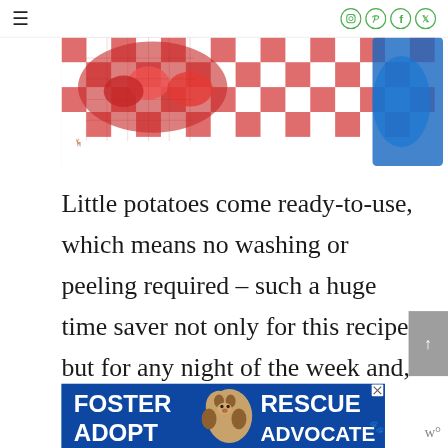≡  [social icons: Instagram, Pinterest, Facebook, Twitter]
[Figure (photo): Hero image showing red potatoes in a mesh bag on a red and white checkered cloth with a blue background]
Little potatoes come ready-to-use, which means no washing or peeling required – such a huge time saver not only for this recipe, but for any night of the week and, let's face it, we can all use a couple of extra
[Figure (photo): Advertisement banner: Foster Adopt Rescue Advocate with a beagle dog photo on dark blue background]